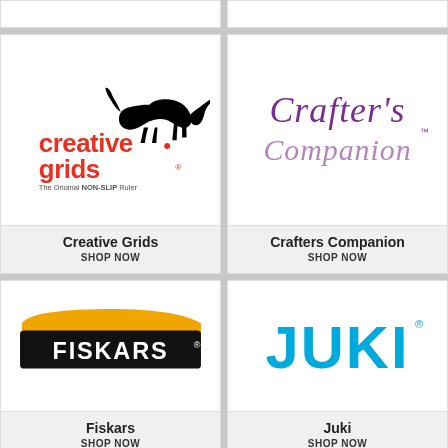[Figure (logo): Creative Grids logo - black running fox silhouette with red 'creative grids' text and tagline 'The Original NON-SLIP Ruler']
Creative Grids
SHOP NOW
[Figure (logo): Crafter's Companion logo - purple and lilac handwritten style text]
Crafters Companion
SHOP NOW
[Figure (logo): Fiskars logo - white text on black background with orange swoosh]
Fiskars
SHOP NOW
[Figure (logo): JUKI logo - bold cyan/blue letters on white background]
Juki
SHOP NOW